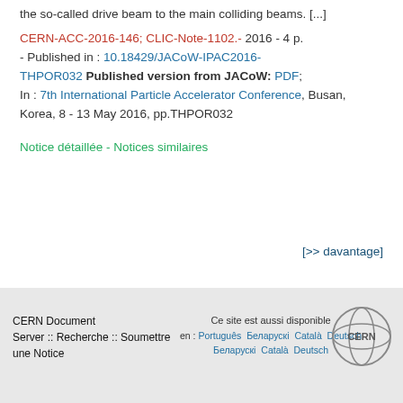the so-called drive beam to the main colliding beams. [...]
CERN-ACC-2016-146; CLIC-Note-1102.- 2016 - 4 p. - Published in : 10.18429/JACoW-IPAC2016-THPOR032 Published version from JACoW: PDF; In : 7th International Particle Accelerator Conference, Busan, Korea, 8 - 13 May 2016, pp.THPOR032
Notice détaillée - Notices similaires
[>> davantage]
CERN Document Server :: Recherche :: Soumettre une Notice | Ce site est aussi disponible en : Português Беларускi Català Deutsch | Privacy | CERN logo